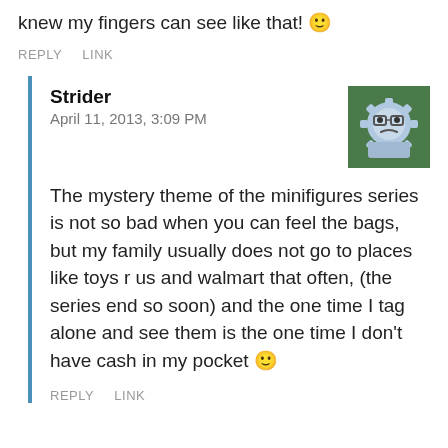knew my fingers can see like that! 🙂
REPLY   LINK
Strider
April 11, 2013, 3:09 PM
[Figure (illustration): Avatar image of Strider - a cartoon gear/cog face with glasses on a green background]
The mystery theme of the minifigures series is not so bad when you can feel the bags, but my family usually does not go to places like toys r us and walmart that often, (the series end so soon) and the one time I tag alone and see them is the one time I don't have cash in my pocket 🙂
REPLY   LINK